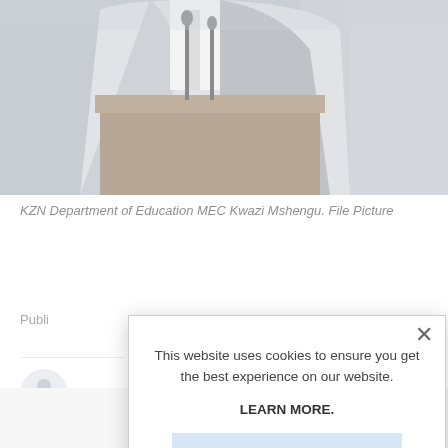[Figure (photo): A person in a suit standing at a podium with microphones, photographed from the chest up. Background is blurred. This is a file picture of KZN Department of Education MEC Kwazi Mshengu.]
KZN Department of Education MEC Kwazi Mshengu. File Picture
Publi
[Figure (screenshot): Cookie consent modal dialog overlaid on page content. Contains text: 'This website uses cookies to ensure you get the best experience on our website.' followed by 'LEARN MORE.' and an 'ACCEPT COOKIES' button. A close (X) button is in the top right of the modal.]